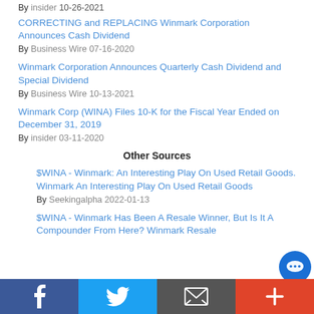By insider 10-26-2021
CORRECTING and REPLACING Winmark Corporation Announces Cash Dividend
By Business Wire 07-16-2020
Winmark Corporation Announces Quarterly Cash Dividend and Special Dividend
By Business Wire 10-13-2021
Winmark Corp (WINA) Files 10-K for the Fiscal Year Ended on December 31, 2019
By insider 03-11-2020
Other Sources
$WINA - Winmark: An Interesting Play On Used Retail Goods. Winmark An Interesting Play On Used Retail Goods
By Seekingalpha 2022-01-13
$WINA - Winmark Has Been A Resale Winner, But Is It A Compounder From Here? Winmark Resale
Facebook | Twitter | Email | Plus